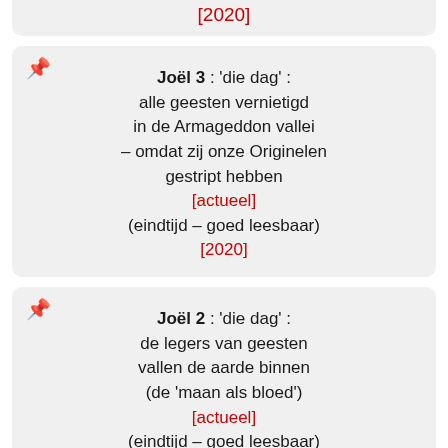[2020]
Joël 3 : 'die dag' : alle geesten vernietigd in de Armageddon vallei – omdat zij onze Originelen gestript hebben [actueel] (eindtijd – goed leesbaar) [2020]
Joël 2 : 'die dag' : de legers van geesten vallen de aarde binnen (de 'maan als bloed') [actueel] (eindtijd – goed leesbaar) [2020]